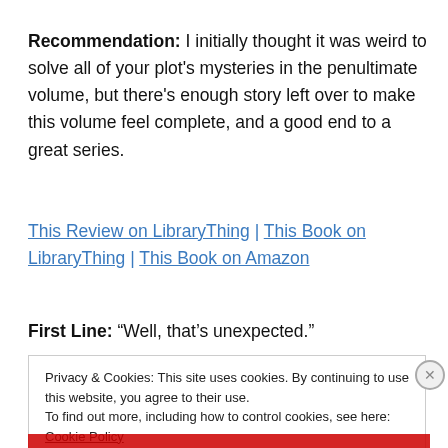Recommendation: I initially thought it was weird to solve all of your plot's mysteries in the penultimate volume, but there's enough story left over to make this volume feel complete, and a good end to a great series.
This Review on LibraryThing | This Book on LibraryThing | This Book on Amazon
First Line: “Well, that’s unexpected.”
Privacy & Cookies: This site uses cookies. By continuing to use this website, you agree to their use. To find out more, including how to control cookies, see here: Cookie Policy